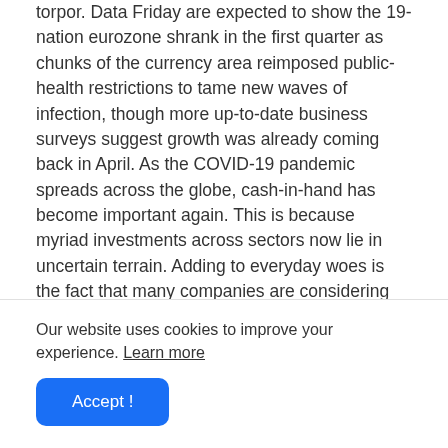torpor. Data Friday are expected to show the 19-nation eurozone shrank in the first quarter as chunks of the currency area reimposed public-health restrictions to tame new waves of infection, though more up-to-date business surveys suggest growth was already coming back in April. As the COVID-19 pandemic spreads across the globe, cash-in-hand has become important again. This is because myriad investments across sectors now lie in uncertain terrain. Adding to everyday woes is the fact that many companies are considering layoffs or delayed salaries. Access to one's own savings has become a luxury. Here's how you can get your moolah in these dire times.
This all-weather fund is most helpful during times of crisis
Our website uses cookies to improve your experience. Learn more
Accept !